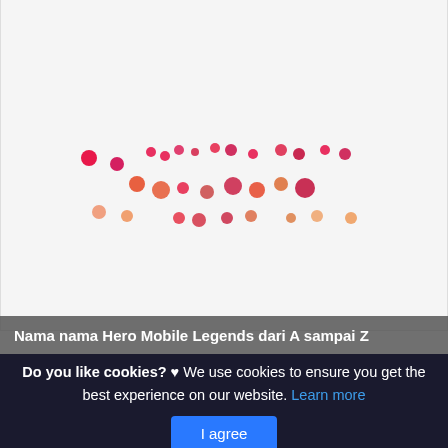[Figure (other): Loading spinner made of colorful dots arranged in a loose scattered pattern, colors ranging from deep pink/red to light peach/orange]
Nama nama Hero Mobile Legends dari A sampai Z
Do you like cookies? ♥ We use cookies to ensure you get the best experience on our website. Learn more
I agree